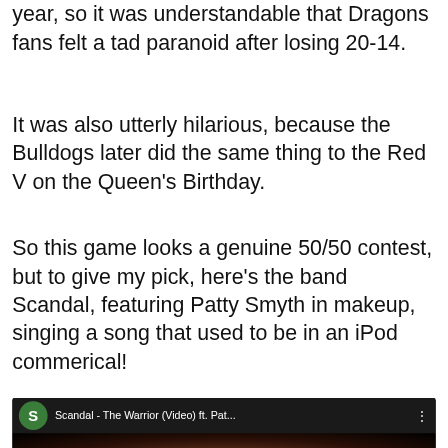year, so it was understandable that Dragons fans felt a tad paranoid after losing 20-14.
It was also utterly hilarious, because the Bulldogs later did the same thing to the Red V on the Queen's Birthday.
So this game looks a genuine 50/50 contest, but to give my pick, here's the band Scandal, featuring Patty Smyth in makeup, singing a song that used to be in an iPod commerical!
[Figure (screenshot): YouTube video thumbnail for 'Scandal - The Warrior (Video) ft. Pat...' with green S icon and dark background]
Advertisements
[Figure (logo): Longreads advertisement banner: 'The best stories on the web — ours, and everyone else's.']